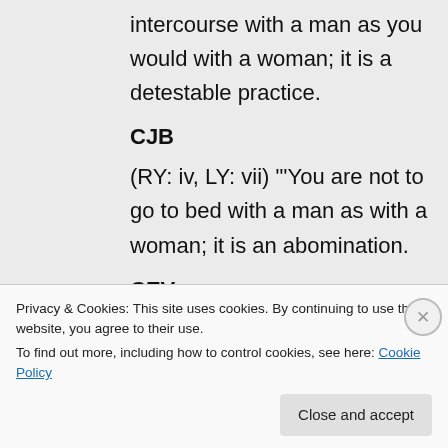intercourse with a man as you would with a woman; it is a detestable practice.
CJB
(RY: iv, LY: vii) "'You are not to go to bed with a man as with a woman; it is an abomination.
CEV
It is disgusting for a man to have sex with another man.
DARBY
Privacy & Cookies: This site uses cookies. By continuing to use this website, you agree to their use.
To find out more, including how to control cookies, see here: Cookie Policy
Close and accept